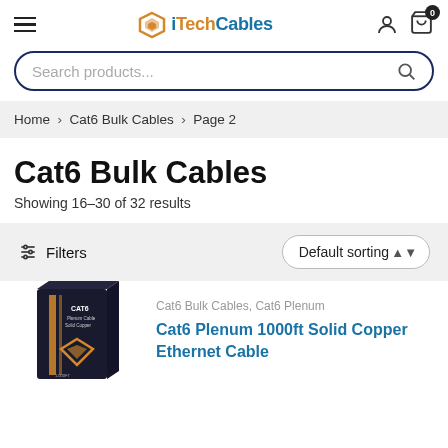iTechCables
Search products...
Home > Cat6 Bulk Cables > Page 2
Cat6 Bulk Cables
Showing 16–30 of 32 results
Filters   Default sorting
Cat6 Bulk Cables, Cat6 Plenum
Cat6 Plenum 1000ft Solid Copper Ethernet Cable
[Figure (photo): Product box image of CAT6 Plenum Solid Copper cable on dark background with orange cable graphics]